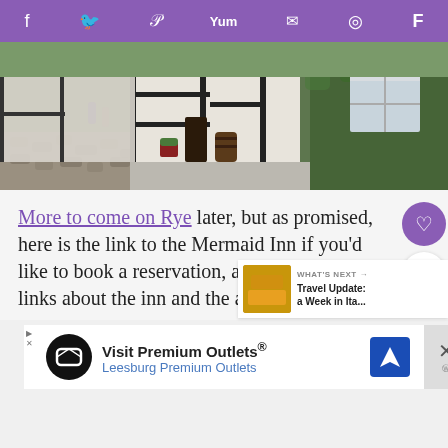Social sharing bar: Facebook, Twitter, Pinterest, Yummly, Email, WhatsApp, Flipboard
[Figure (photo): Street view of cobblestone lane with ivy-covered Tudor black-and-white half-timbered buildings in Rye, England. People walking in background.]
More to come on Rye later, but as promised, here is the link to the Mermaid Inn if you'd like to book a reservation, and a few other links about the inn and the area.
[Figure (infographic): WHAT'S NEXT arrow label with thumbnail image and text: Travel Update: a Week in Ita...]
[Figure (infographic): Advertisement: Visit Premium Outlets® Leesburg Premium Outlets with logo and navigation icon]